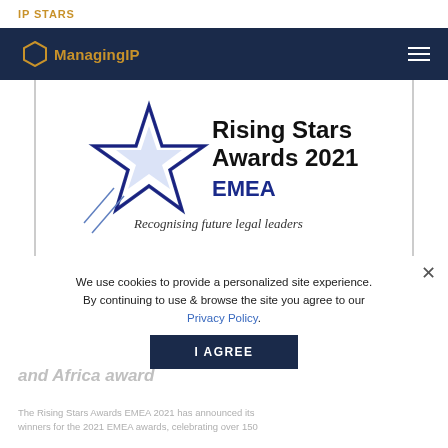IP STARS
[Figure (logo): Managing IP logo with hexagon icon on dark navy navigation bar]
[Figure (illustration): Rising Stars Awards 2021 EMEA logo with blue star graphic and text 'Recognising future legal leaders']
We use cookies to provide a personalized site experience. By continuing to use & browse the site you agree to our Privacy Policy.
The Rising Stars Awards has announced the full list of winners for the 2021 Europe, Middle East and Africa awards
The Rising Stars Awards EMEA 2021 has announced its winners for the 2021 EMEA awards, celebrating over 150